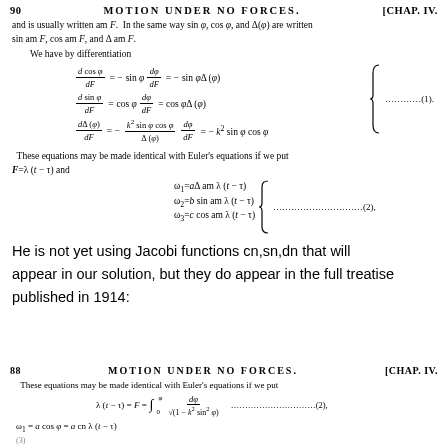90    MOTION UNDER NO FORCES.    [CHAP. IV.
and is usually written am F.  In the same way sin φ, cos φ, and Δ(φ) are written sin am F, cos am F, and Δ am F.
We have by differentiation
These equations may be made identical with Euler's equations if we put F=λ(t−τ) and
He is not yet using Jacobi functions cn,sn,dn that will appear in our solution, but they do appear in the full treatise published in 1914:
88    MOTION UNDER NO FORCES.    [CHAP. IV.
These equations may be made identical with Euler's equations if we put
ω₁ = a cos φ = a cn λ(t − τ)